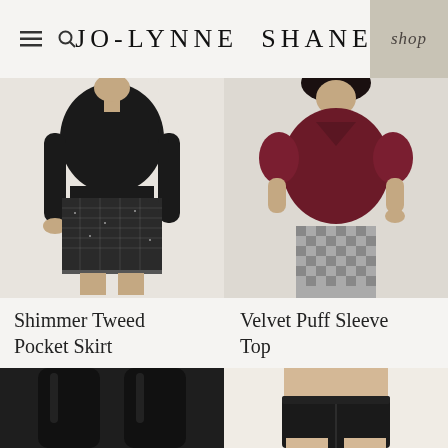JO-LYNNE SHANE
[Figure (photo): Woman wearing black long-sleeve sweater with shimmer tweed pocket mini skirt on light background]
[Figure (photo): Woman wearing dark burgundy velvet puff sleeve top with grey houndstooth pants on light background]
Shimmer Tweed Pocket Skirt
Velvet Puff Sleeve Top
[Figure (photo): Close-up of black over-the-knee boots on a person's legs]
[Figure (photo): Close-up of black shapewear/undergarment on white background]